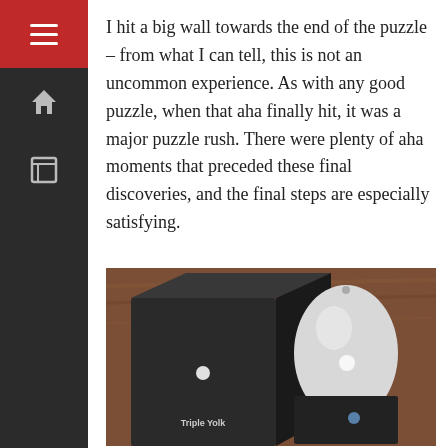I hit a big wall towards the end of the puzzle – from what I can tell, this is not an uncommon experience. As with any good puzzle, when that aha finally hit, it was a major puzzle rush. There were plenty of aha moments that preceded these final discoveries, and the final steps are especially satisfying.
[Figure (photo): A black box puzzle product and a white egg-shaped object (possibly the puzzle piece removed from its box), placed on a wooden surface. The box reads 'Triple Yolk' on its front.]